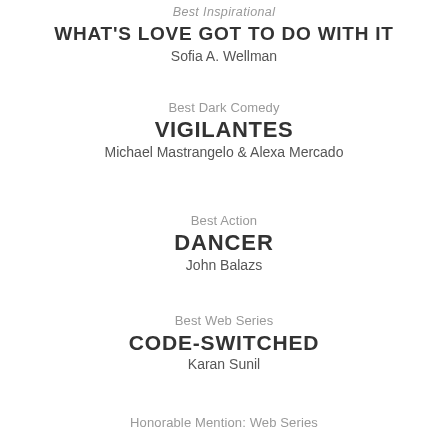Best Inspirational
WHAT'S LOVE GOT TO DO WITH IT
Sofia A. Wellman
Best Dark Comedy
VIGILANTES
Michael Mastrangelo & Alexa Mercado
Best Action
DANCER
John Balazs
Best Web Series
CODE-SWITCHED
Karan Sunil
Honorable Mention: Web Series